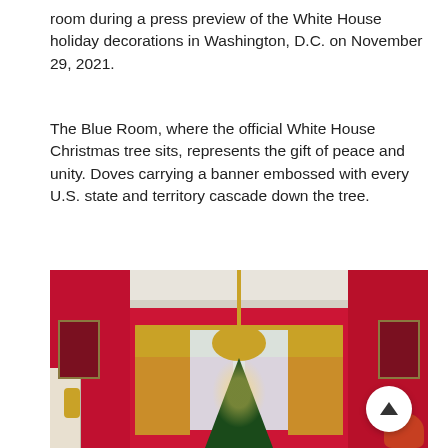room during a press preview of the White House holiday decorations in Washington, D.C. on November 29, 2021.
The Blue Room, where the official White House Christmas tree sits, represents the gift of peace and unity. Doves carrying a banner embossed with every U.S. state and territory cascade down the tree.
[Figure (photo): Interior photo of the White House Red Room decorated for Christmas. The room features bright red walls, gold drapery with valances over tall windows, a large ornate gold chandelier, a decorated Christmas tree, portrait paintings on the walls, and floral arrangements.]